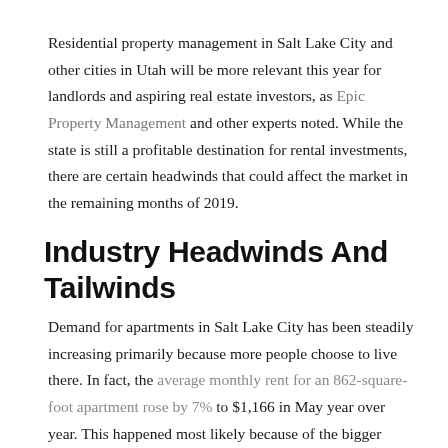Residential property management in Salt Lake City and other cities in Utah will be more relevant this year for landlords and aspiring real estate investors, as Epic Property Management and other experts noted. While the state is still a profitable destination for rental investments, there are certain headwinds that could affect the market in the remaining months of 2019.
Industry Headwinds And Tailwinds
Demand for apartments in Salt Lake City has been steadily increasing primarily because more people choose to live there. In fact, the average monthly rent for an 862-square-foot apartment rose by 7% to $1,166 in May year over year. This happened most likely because of the bigger demand partly due to interstate migration in the city, which contributed to a higher